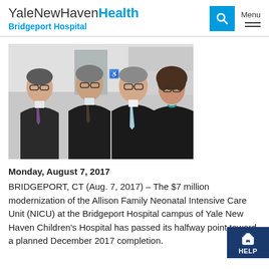YaleNewHavenHealth Bridgeport Hospital
[Figure (photo): Four people standing together indoors — three men in dark suits and one woman with glasses, posing for a photo in what appears to be a hospital setting.]
Monday, August 7, 2017
BRIDGEPORT, CT (Aug. 7, 2017) – The $7 million modernization of the Allison Family Neonatal Intensive Care Unit (NICU) at the Bridgeport Hospital campus of Yale New Haven Children's Hospital has passed its halfway point toward a planned December 2017 completion.